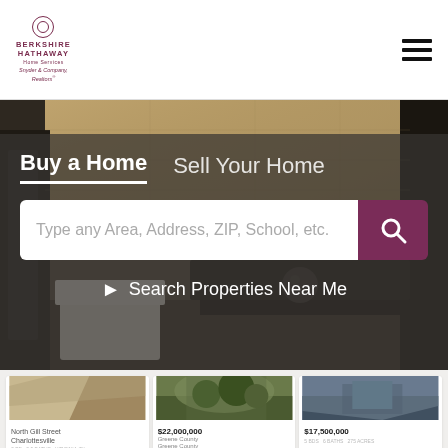[Figure (logo): Berkshire Hathaway Home Services – Snyder & Company, Realtors logo]
[Figure (screenshot): Hamburger menu icon (three horizontal bars)]
[Figure (photo): Hero background photo of a modern interior room with stone wall and dark furniture]
Buy a Home
Sell Your Home
Type any Area, Address, ZIP, School, etc.
Search Properties Near Me
[Figure (photo): Property listing card – partial, top-left, partially visible]
North Gill Street
Charlottesville
[Figure (photo): Property listing card – $22,000,000 property, wooded area aerial view]
$22,000,000
Greene County
Greene County
[Figure (photo): Property listing card – $17,500,000 partial]
$17,500,000
[Figure (photo): Property listing card – aerial of estate with greenery, $2,950,000]
2,950,000
[Figure (photo): Property listing card – Mediterranean-style villa, $12,275,000]
$12,275,000
[Figure (photo): Property listing card – aerial/water view, $11,500,000]
$11,500,000